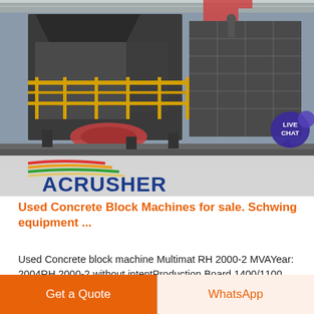[Figure (photo): Industrial concrete block machine / crusher manufacturing equipment on factory floor with yellow railings and overhead crane, with ACRUSHER MINING EQUIPMENT logo overlay at bottom]
Used Concrete Block Machines for sale. Schwing equipment ...
Used Concrete block machine Multimat RH 2000-2 MVAYear: 2004RH 2000-2 without intentProduction Board 1400/1100